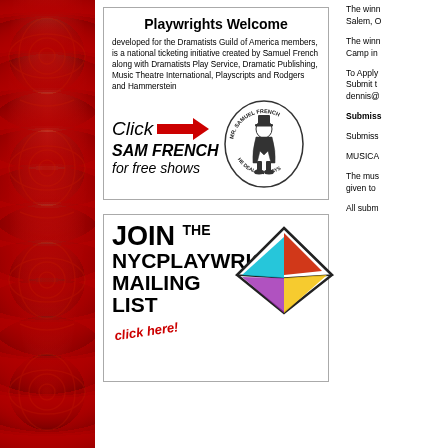[Figure (illustration): Red decorative background panel with floral/arabesque pattern on the left side of the page]
[Figure (illustration): Playwrights Welcome advertisement for Samuel French. Title: 'Playwrights Welcome'. Body text: 'developed for the Dramatists Guild of America members, is a national ticketing initiative created by Samuel French along with Dramatists Play Service, Dramatic Publishing, Music Theatre International, Playscripts and Rodgers and Hammerstein'. Bottom section with 'Click [red arrow] SAM FRENCH for free shows' and Samuel French oval logo with a caricature figure.]
[Figure (illustration): Join the NYCPlaywrights Mailing List advertisement. Large bold text 'JOIN THE NYCPLAYWRIGHTS MAILING LIST', red italic 'click here!', and a colorful geometric envelope/diamond graphic on the right.]
The winner Salem, O
The winner Camp in
To Apply Submit the dennis@
Submiss
Submiss
MUSICA
The mus given to
All subm